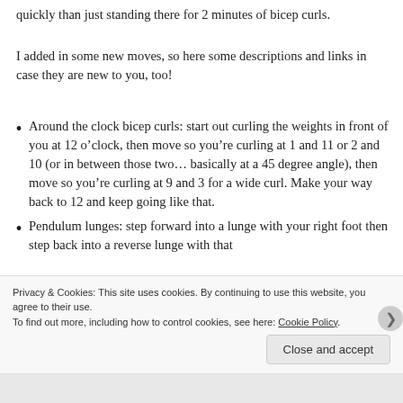quickly than just standing there for 2 minutes of bicep curls.
I added in some new moves, so here some descriptions and links in case they are new to you, too!
Around the clock bicep curls: start out curling the weights in front of you at 12 o’clock, then move so you’re curling at 1 and 11 or 2 and 10 (or in between those two… basically at a 45 degree angle), then move so you’re curling at 9 and 3 for a wide curl. Make your way back to 12 and keep going like that.
Pendulum lunges: step forward into a lunge with your right foot then step back into a reverse lunge with that
Privacy & Cookies: This site uses cookies. By continuing to use this website, you agree to their use. To find out more, including how to control cookies, see here: Cookie Policy